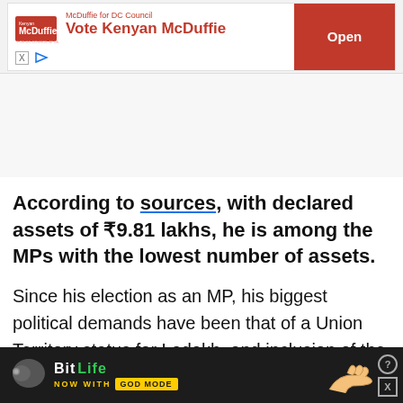[Figure (other): McDuffie for DC Council advertisement banner with logo, text 'Vote Kenyan McDuffie' and red 'Open' button]
According to sources, with declared assets of ₹9.81 lakhs, he is among the MPs with the lowest number of assets.
Since his election as an MP, his biggest political demands have been that of a Union Territory status for Ladakh, and inclusion of the Bhoti language in the 8th Sc
[Figure (other): BitLife game advertisement banner - 'NOW WITH GOD MODE' with yellow and dark background]